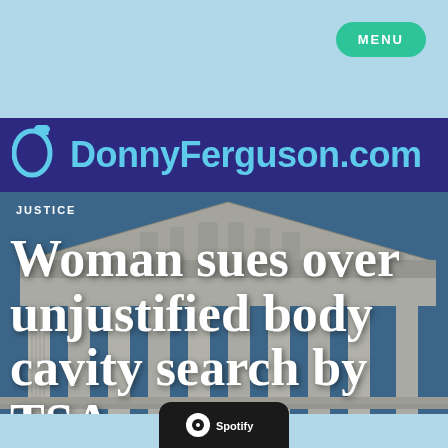MENU
[Figure (logo): DonnyFerguson.com logo with musical note icon on dark blue background]
[Figure (photo): Photograph of a neoclassical courthouse building (US Supreme Court) with columns and ornate pediment, shot from low angle against blue sky]
JUSTICE
Woman sues over unjustified body cavity search by TSA agent
[Figure (logo): Spotify or podcast button at bottom of page, dark rounded rectangle]